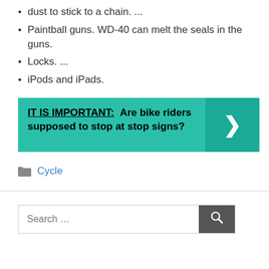dust to stick to a chain. ...
Paintball guns. WD-40 can melt the seals in the guns.
Locks. ...
iPods and iPads.
IT IS IMPORTANT: Are bike riders supposed to stop at stop signs?
Cycle
Search ...